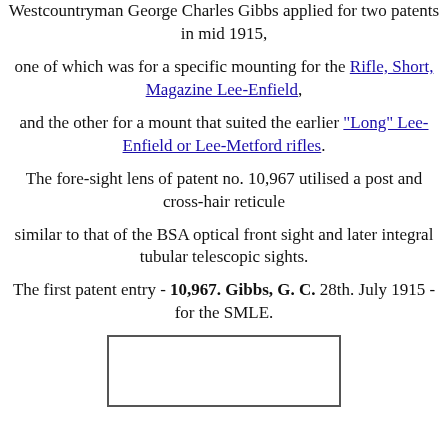Westcountryman George Charles Gibbs applied for two patents in mid 1915,
one of which was for a specific mounting for the Rifle, Short, Magazine Lee-Enfield,
and the other for a mount that suited the earlier "Long" Lee-Enfield or Lee-Metford rifles.
The fore-sight lens of patent no. 10,967 utilised a post and cross-hair reticule
similar to that of the BSA optical front sight and later integral tubular telescopic sights.
The first patent entry - 10,967. Gibbs, G. C. 28th. July 1915 - for the SMLE.
[Figure (other): Rectangular image placeholder box, empty white interior with grey border]